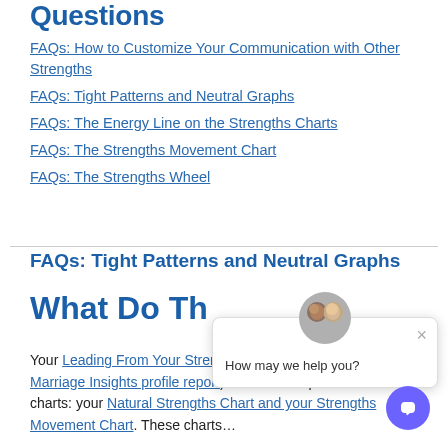Questions
FAQs: How to Customize Your Communication with Other Strengths
FAQs: Tight Patterns and Neutral Graphs
FAQs: The Energy Line on the Strengths Charts
FAQs: The Strengths Movement Chart
FAQs: The Strengths Wheel
FAQs: Tight Patterns and Neutral Graphs
What Do Th…
Your Leading From Your Strengths profile report (or your Marriage Insights profile report) includ… two personalized charts: your Natural Strengths Chart and your Strengths Movement Chart. These charts…